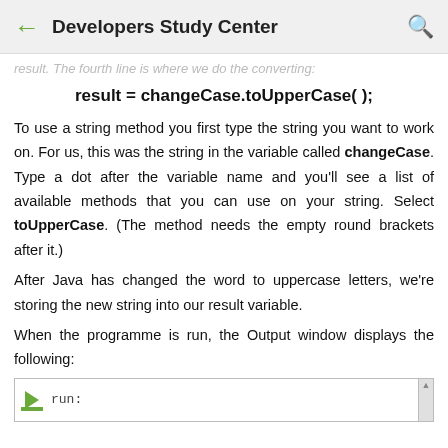← Developers Study Center 🔍
result. The fourth line is where we do the converting:
To use a string method you first type the string you want to work on. For us, this was the string in the variable called changeCase. Type a dot after the variable name and you'll see a list of available methods that you can use on your string. Select toUpperCase. (The method needs the empty round brackets after it.)
After Java has changed the word to uppercase letters, we're storing the new string into our result variable.
When the programme is run, the Output window displays the following:
[Figure (screenshot): Screenshot of IDE output window showing 'run:' text]